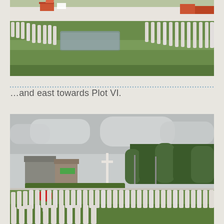[Figure (photo): Military cemetery with rows of white headstones on green grass, a white wall in the background, red-roofed buildings visible beyond the wall, and lavender plants between the rows. View looking east.]
…and east towards Plot VI.
[Figure (photo): Military cemetery with rows of white headstones on green grass, a cross of sacrifice monument visible in the centre, houses and trees in the background, and a stop sign on the left edge. Overcast sky.]